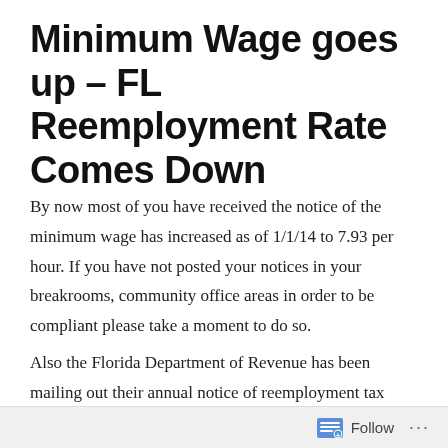Minimum Wage goes up – FL Reemployment Rate Comes Down
By now most of you have received the notice of the minimum wage has increased as of 1/1/14 to 7.93 per hour. If you have not posted your notices in your breakrooms, community office areas in order to be compliant please take a moment to do so.
Also the Florida Department of Revenue has been mailing out their annual notice of reemployment tax rates (formerly unemployment tax). Surprisingly most
Follow